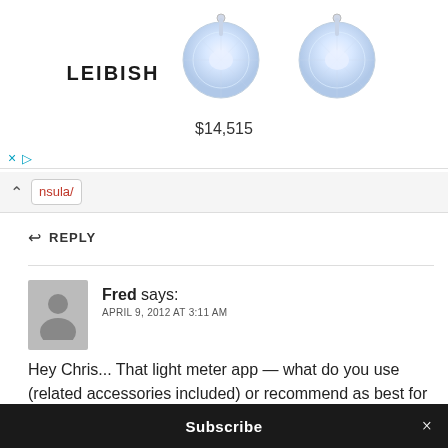[Figure (photo): Advertisement banner for Leibish jewelry featuring two diamond stud earrings and price $14,515]
× ▷
nsula/
↩ REPLY
Fred says:
APRIL 9, 2012 AT 3:11 AM
Hey Chris... That light meter app — what do you use (related accessories included) or recommend as best for either iPad Touch or Android? Do I still need the old Sekonic or Minolta? Thanks for any tips!
Subscribe ×